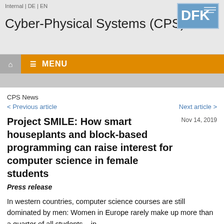Internal | DE | EN
Cyber-Physical Systems (CPS)
MENU
CPS News
< Previous article    Next article >
Project SMILE: How smart houseplants and block-based programming can raise interest for computer science in female students
Nov 14, 2019
Press release
In western countries, computer science courses are still dominated by men: Women in Europe rarely make up more than a quarter of all students – in